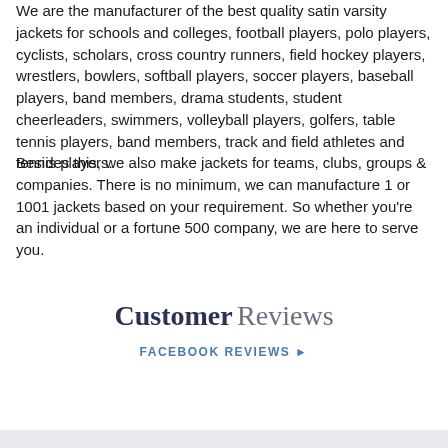We are the manufacturer of the best quality satin varsity jackets for schools and colleges, football players, polo players, cyclists, scholars, cross country runners, field hockey players, wrestlers, bowlers, softball players, soccer players, baseball players, band members, drama students, student cheerleaders, swimmers, volleyball players, golfers, table tennis players, band members, track and field athletes and tennis players.
Besides this, we also make jackets for teams, clubs, groups & companies. There is no minimum, we can manufacture 1 or 1001 jackets based on your requirement. So whether you're an individual or a fortune 500 company, we are here to serve you.
Customer Reviews
FACEBOOK REVIEWS ▶